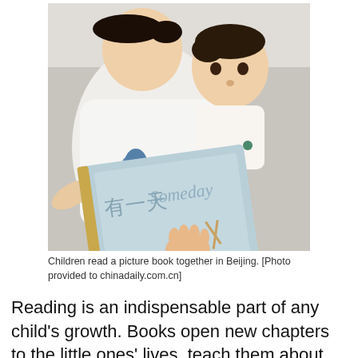[Figure (photo): Two children reading a picture book together in Beijing. An older child in a white t-shirt with a blue monster graphic holds a light blue picture book with Chinese characters and illustration, while a younger baby/toddler looks at the book.]
Children read a picture book together in Beijing. [Photo provided to chinadaily.com.cn]
Reading is an indispensable part of any child's growth. Books open new chapters to the little ones' lives, teach them about how the world works, tell them tales as old as time and nourish their tender souls.